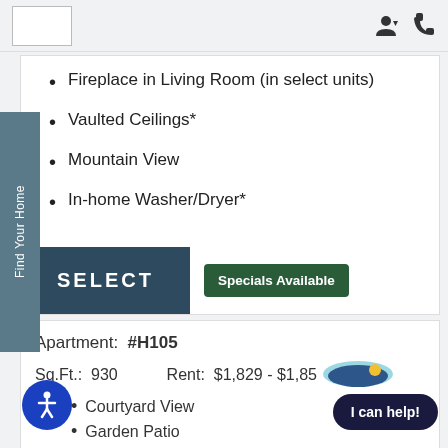[Figure (other): Navigation bar with logo placeholder box and user/phone icons]
Fireplace in Living Room (in select units)
Vaulted Ceilings*
Mountain View
In-home Washer/Dryer*
SELECT | Specials Available
Apartment:  #H105
Sq.Ft.:  930     Rent:  $1,829 - $1,85...
Amenities:
1st Floor
Courtyard View
Garden Patio